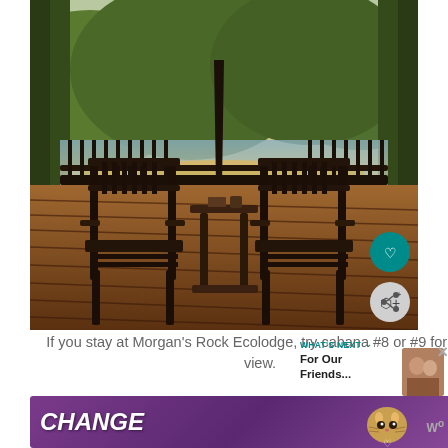[Figure (photo): A wooden deck with two dark wooden rocking chairs facing a scenic beach and ocean view, surrounded by tropical trees and hills in the background, photographed at golden hour. A small table sits between the chairs. Heart and share buttons visible on the right side.]
If you stay at Morgan's Rock Ecolodge, try cabana #8 or #9 for this view.
[Figure (photo): What's Next thumbnail with image of people]
WHAT'S NEXT → For Our Friends...
[Figure (illustration): Purple advertisement banner with text CHANGE LIVES and a cat image in the middle. Has a close X button.]